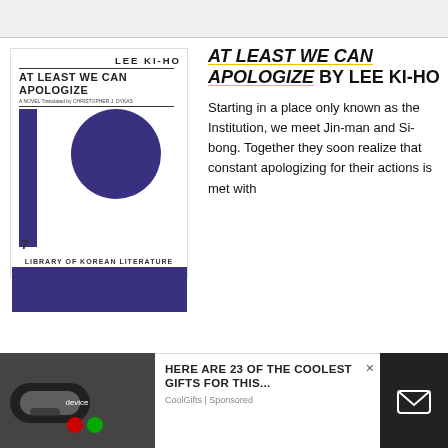[Figure (illustration): Book cover for 'At Least We Can Apologize' by Lee Ki-Ho. White cover with bold title text, a purple vertical bar on the left, a large purple circle, the number 7, 'Library of Korean Literature' label, and a purple rectangle at the bottom.]
AT LEAST WE CAN APOLOGIZE BY LEE KI-HO
Starting in a place only known as the Institution, we meet Jin-man and Si-bong. Together they soon realize that constant apologizing for their actions is met with
[Figure (screenshot): Advertisement overlay: 'HERE ARE 23 OF THE COOLEST GIFTS FOR THIS...' by CoolGifts | Sponsored, with a close button (×), left image of a device, and dark right panel with email icon.]